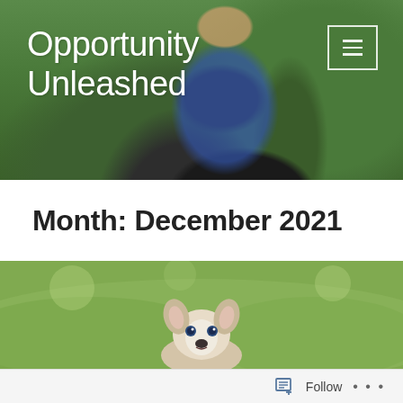[Figure (photo): A girl with blonde hair in a navy floral dress hugging a black Labrador dog, sitting on green grass outdoors. Header image for blog 'Opportunity Unleashed'.]
Opportunity Unleashed
Month: December 2021
[Figure (photo): A small Husky puppy sitting in green grass outdoors, looking at the camera with blue eyes.]
Follow ...